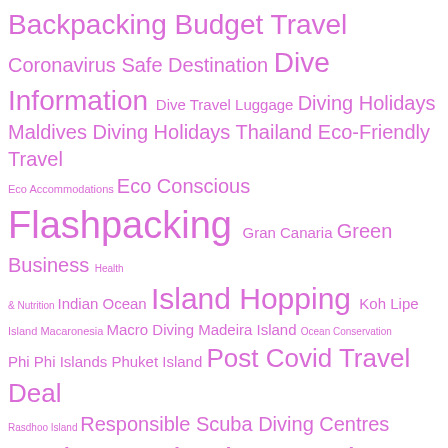[Figure (infographic): Tag cloud of travel-related topics in shades of pink/violet. Tags shown in varying font sizes indicating relative frequency/popularity: Backpacking, Budget Travel, Coronavirus Safe Destination, Dive Information, Dive Travel Luggage, Diving Holidays Maldives, Diving Holidays Thailand, Eco-Friendly Travel, Eco Accommodations, Eco Conscious, Flashpacking, Gran Canaria, Green Business, Health & Nutrition, Indian Ocean, Island Hopping, Koh Lipe, Island Macaronesia, Macro Diving, Madeira Island, Ocean Conservation, Phi Phi Islands, Phuket Island, Post Covid Travel Deal, Rasdhoo Island, Responsible Scuba Diving Centres, Scuba Destinations, Scuba Diving, Scuba Diving Vacations, Sea Turtles, Sharks, Solo Female Travel, Splashpacking Tips, Support Local Population, Sustainable Tourism, Travel Activities, Travel Europe, Travel Maldives, Travel Portugal, Travel Thailand, Travel Tips (partially visible)]